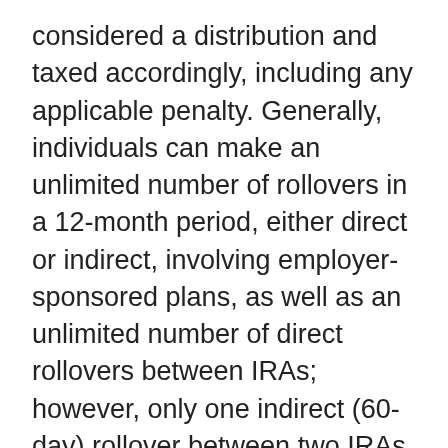considered a distribution and taxed accordingly, including any applicable penalty. Generally, individuals can make an unlimited number of rollovers in a 12-month period, either direct or indirect, involving employer-sponsored plans, as well as an unlimited number of direct rollovers between IRAs; however, only one indirect (60-day) rollover between two IRAs is permitted within a 12-month period.
2. C. It depends. Beware of the five-year rule as it applies to Roth IRAs. If you establish your first Roth IRA with your Roth 401(k) rollover